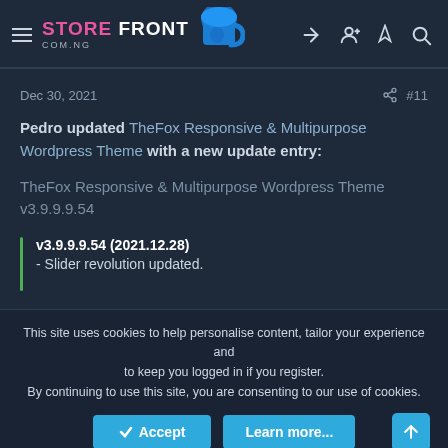[Figure (logo): StoreFront COM.NG logo with blue mug icon]
Dec 30, 2021
#11
Pedro updated TheFox Responsive & Multipurpose Wordpress Theme with a new update entry:
TheFox Responsive & Multipurpose Wordpress Theme v3.9.9.9.54
v3.9.9.9.54 (2021.12.28)
- Slider revolution updated.
This site uses cookies to help personalise content, tailor your experience and to keep you logged in if you register.
By continuing to use this site, you are consenting to our use of cookies.